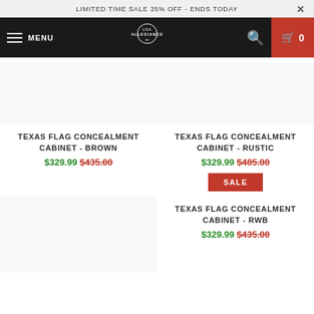LIMITED TIME SALE 35% OFF - ENDS TODAY
[Figure (screenshot): Navigation bar with hamburger menu, MENU text, USA Allegiance logo, search icon, and cart button showing 0 items]
TEXAS FLAG CONCEALMENT CABINET - BROWN $329.99 $435.00
TEXAS FLAG CONCEALMENT CABINET - RUSTIC $329.99 $485.00
SALE
TEXAS FLAG CONCEALMENT CABINET - RWB $329.99 $435.00